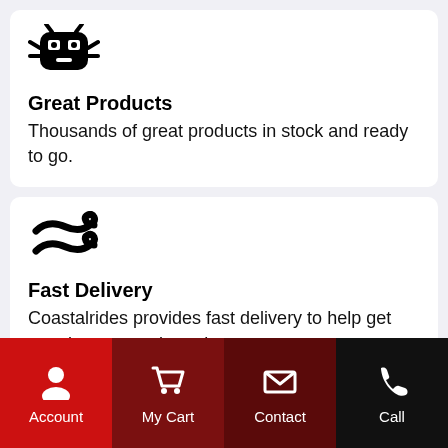[Figure (illustration): Black bug/robot icon]
Great Products
Thousands of great products in stock and ready to go.
[Figure (illustration): Black wind icon (two swirling lines)]
Fast Delivery
Coastalrides provides fast delivery to help get your boat up and running asap.
Account | My Cart | Contact | Call